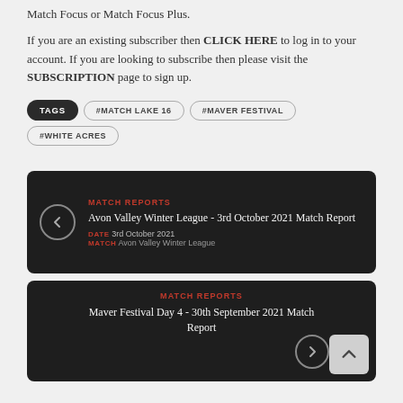Match Focus or Match Focus Plus.
If you are an existing subscriber then CLICK HERE to log in to your account. If you are looking to subscribe then please visit the SUBSCRIPTION page to sign up.
TAGS  #MATCH LAKE 16  #MAVER FESTIVAL  #WHITE ACRES
[Figure (other): Dark card with left arrow, MATCH REPORTS category label, title 'Avon Valley Winter League - 3rd October 2021 Match Report', date '3rd October 2021', match 'Avon Valley Winter League']
[Figure (other): Dark card centered with MATCH REPORTS category label, title 'Maver Festival Day 4 - 30th September 2021 Match Report', right arrow, scroll-to-top button]